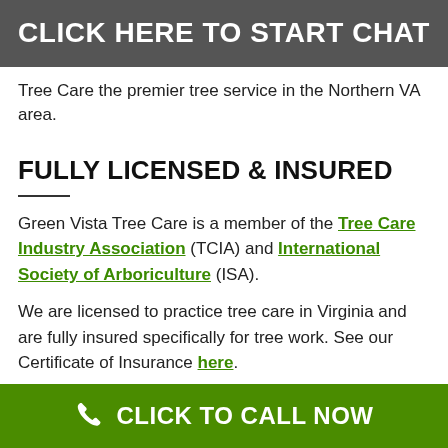CLICK HERE TO START CHAT
Tree Care the premier tree service in the Northern VA area.
FULLY LICENSED & INSURED
Green Vista Tree Care is a member of the Tree Care Industry Association (TCIA) and International Society of Arboriculture (ISA).
We are licensed to practice tree care in Virginia and are fully insured specifically for tree work. See our Certificate of Insurance here.
CLICK TO CALL NOW